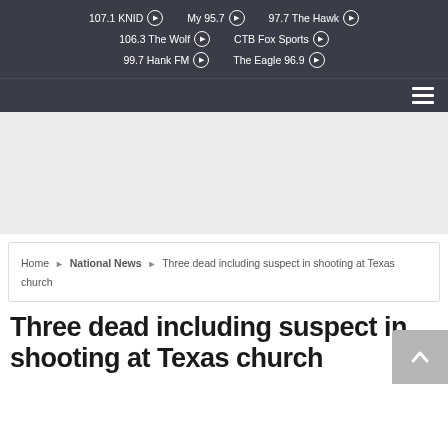107.1 KNID | My 95.7 | 97.7 The Hawk | 106.3 The Wolf | CTB Fox Sports | 99.7 Hank FM | The Eagle 96.9
[Figure (other): Gray advertisement/banner placeholder area]
Home > National News > Three dead including suspect in shooting at Texas church
Three dead including suspect in shooting at Texas church